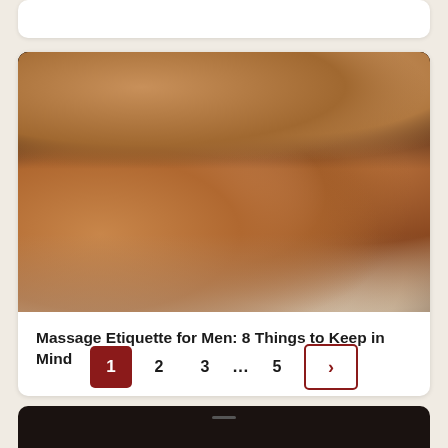[Figure (photo): Massage therapist's hands working on a man's back. The client is lying face down on a massage table covered with white sheets.]
Massage Etiquette for Men: 8 Things to Keep in Mind
1 2 3 … 5 >